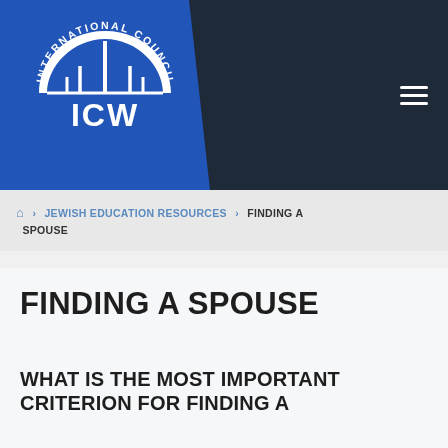[Figure (logo): International Council of Jewish Women (ICJW) logo — circular text around a menorah/arch symbol in white on blue background]
Home > JEWISH EDUCATION RESOURCES > FINDING A SPOUSE
FINDING A SPOUSE
WHAT IS THE MOST IMPORTANT CRITERION FOR FINDING A